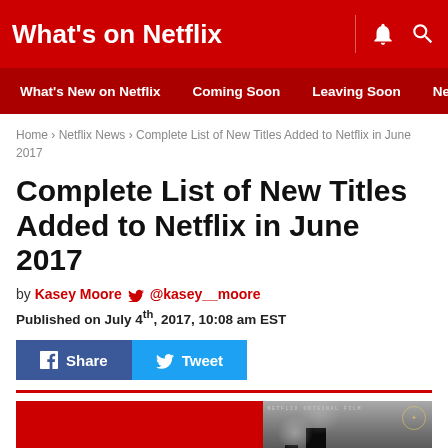What's on Netflix
What's New on Netflix · Coming Soon · Leaving Soon · Netflix Ne
Home › Netflix News › Complete List of New Titles Added to Netflix in June 2017
Complete List of New Titles Added to Netflix in June 2017
by Kasey Moore 🐦 @kasey__moore
Published on July 4th, 2017, 10:08 am EST
Share  Tweet
[Figure (photo): Article thumbnail image showing 'What's on Netflix' text on red background with a black-and-white industrial factory chimney photo]